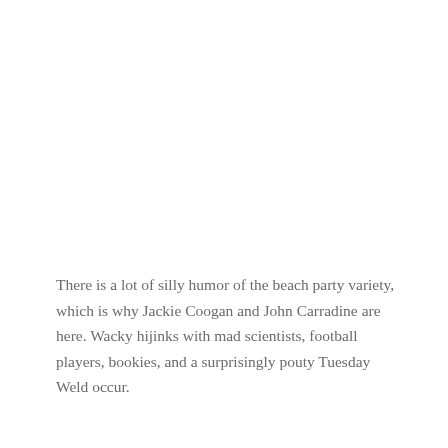There is a lot of silly humor of the beach party variety, which is why Jackie Coogan and John Carradine are here. Wacky hijinks with mad scientists, football players, bookies, and a surprisingly pouty Tuesday Weld occur.